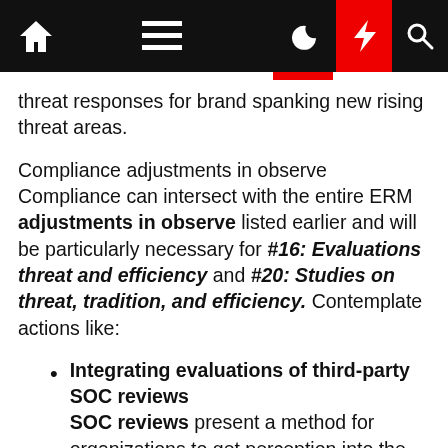Navigation bar with home, menu, moon, bolt, and search icons
threat responses for brand spanking new rising threat areas.
Compliance adjustments in observe Compliance can intersect with the entire ERM adjustments in observe listed earlier and will be particularly necessary for #16: Evaluations threat and efficiency and #20: Studies on threat, tradition, and efficiency. Contemplate actions like:
Integrating evaluations of third-party SOC reviews SOC reviews present a method for organizations to get perception into the management surroundings of their third-party suppliers and get an unbiased and goal evaluation on the design and working effectiveness of their controls. It